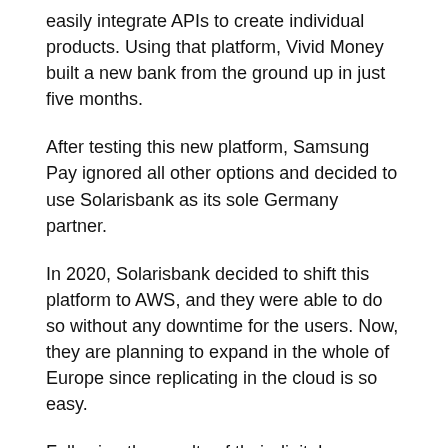easily integrate APIs to create individual products. Using that platform, Vivid Money built a new bank from the ground up in just five months.
After testing this new platform, Samsung Pay ignored all other options and decided to use Solarisbank as its sole Germany partner.
In 2020, Solarisbank decided to shift this platform to AWS, and they were able to do so without any downtime for the users. Now, they are planning to expand in the whole of Europe since replicating in the cloud is so easy.
Following the results of their digital transformation process, Hima said that they invested in the people; “putting tech people at the forefront of banking projects and solving problems with a piece of code rather than processes.”